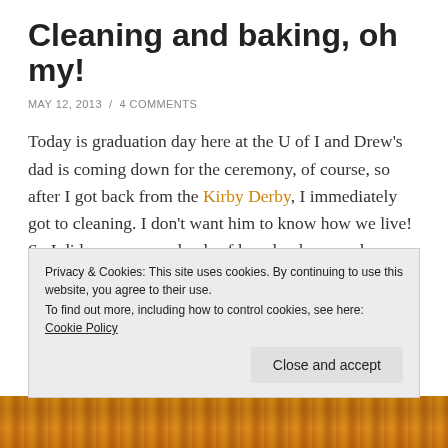Cleaning and baking, oh my!
MAY 12, 2013  /  4 COMMENTS
Today is graduation day here at the U of I and Drew's dad is coming down for the ceremony, of course, so after I got back from the Kirby Derby, I immediately got to cleaning. I don't want him to know how we live! So I did many, many loads of laundry, hoovered, cleaned floors and the bathroom, took stuff down to hide it in the basement storage unit, and then after I was done with all of that, I baked a loaf of Whole Grain Strawberry-Banana Bread
Privacy & Cookies: This site uses cookies. By continuing to use this website, you agree to their use.
To find out more, including how to control cookies, see here: Cookie Policy
Close and accept
[Figure (photo): Bottom strip showing baked bread image, warm orange-brown tones]